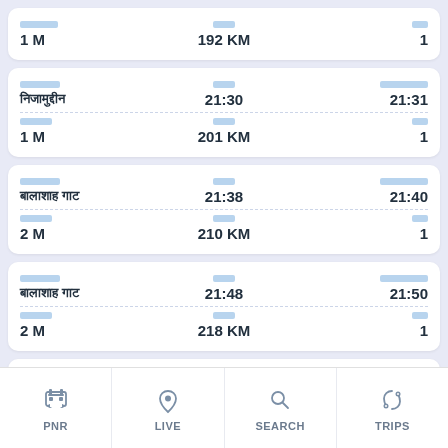| Station | Time | Day |
| --- | --- | --- |
| nnnnnn | 192 KM | 1 |
| nnnnnnn nnnnnnnn | 21:30 | 21:31 |
| 1 M | 201 KM | 1 |
| nnnnnnn nnnnn | 21:38 | 21:40 |
| 2 M | 210 KM | 1 |
| nnnnnnn nnnnn | 21:48 | 21:50 |
| 2 M | 218 KM | 1 |
[Figure (screenshot): Mobile app bottom navigation bar with PNR, LIVE, SEARCH, TRIPS icons]